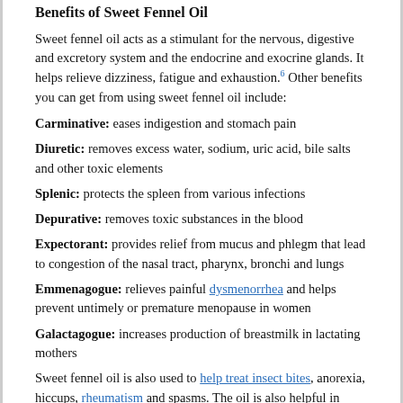Benefits of Sweet Fennel Oil
Sweet fennel oil acts as a stimulant for the nervous, digestive and excretory system and the endocrine and exocrine glands. It helps relieve dizziness, fatigue and exhaustion.6 Other benefits you can get from using sweet fennel oil include:
Carminative: eases indigestion and stomach pain
Diuretic: removes excess water, sodium, uric acid, bile salts and other toxic elements
Splenic: protects the spleen from various infections
Depurative: removes toxic substances in the blood
Expectorant: provides relief from mucus and phlegm that lead to congestion of the nasal tract, pharynx, bronchi and lungs
Emmenagogue: relieves painful dysmenorrhea and helps prevent untimely or premature menopause in women
Galactagogue: increases production of breastmilk in lactating mothers
Sweet fennel oil is also used to help treat insect bites, anorexia, hiccups, rheumatism and spasms. The oil is also helpful in preventing wounds from becoming infected with tetanus